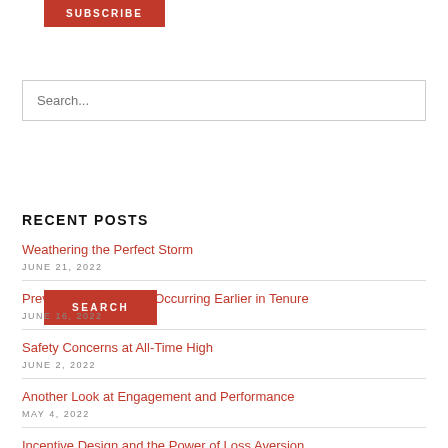[Figure (other): Red SUBSCRIBE button (partially visible at top)]
[Figure (other): Search input field with placeholder text 'Search...']
[Figure (other): Red SEARCH button]
RECENT POSTS
Weathering the Perfect Storm
JUNE 21, 2022
Preventable Accidents Occurring Earlier in Tenure
JUNE 16, 2022
Safety Concerns at All-Time High
JUNE 2, 2022
Another Look at Engagement and Performance
MAY 4, 2022
Incentive Design and the Power of Loss Aversion (partial)